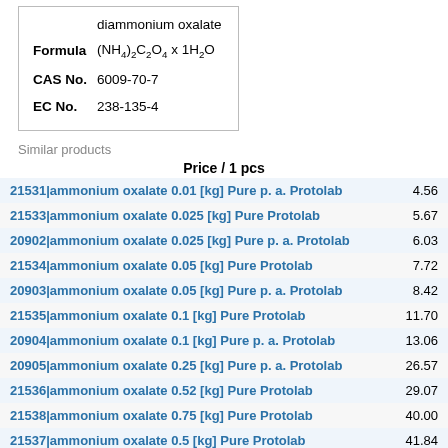|  |  |
| --- | --- |
|  | diammonium oxalate |
| Formula | (NH4)2C2O4 x 1H2O |
| CAS No. | 6009-70-7 |
| EC No. | 238-135-4 |
Similar products
Price / 1 pcs
| Product | Price |
| --- | --- |
| 21531|ammonium oxalate 0.01 [kg] Pure p. a. Protolab | 4.56 |
| 21533|ammonium oxalate 0.025 [kg] Pure Protolab | 5.67 |
| 20902|ammonium oxalate 0.025 [kg] Pure p. a. Protolab | 6.03 |
| 21534|ammonium oxalate 0.05 [kg] Pure Protolab | 7.72 |
| 20903|ammonium oxalate 0.05 [kg] Pure p. a. Protolab | 8.42 |
| 21535|ammonium oxalate 0.1 [kg] Pure Protolab | 11.70 |
| 20904|ammonium oxalate 0.1 [kg] Pure p. a. Protolab | 13.06 |
| 20905|ammonium oxalate 0.25 [kg] Pure p. a. Protolab | 26.57 |
| 21536|ammonium oxalate 0.52 [kg] Pure Protolab | 29.07 |
| 21538|ammonium oxalate 0.75 [kg] Pure Protolab | 40.00 |
| 21537|ammonium oxalate 0.5 [kg] Pure Protolab | 41.84 |
| 21532|ammonium oxalate 0.75 [kg] Pure p. a. Protolab | 46.10 |
| 20906|ammonium oxalate 0.5 [kg] Pure p. a. Protolab | 48.06 |
| 21539|ammonium oxalate 1 [kg] Pure Protolab | 77.15 |